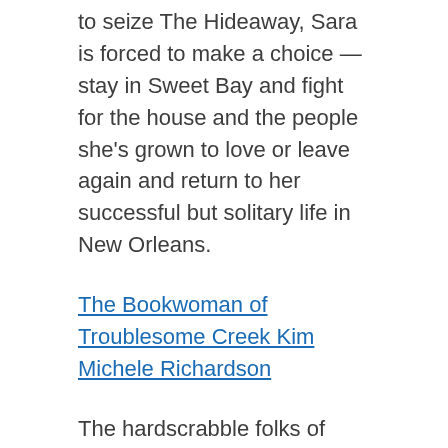to seize The Hideaway, Sara is forced to make a choice — stay in Sweet Bay and fight for the house and the people she's grown to love or leave again and return to her successful but solitary life in New Orleans.
The Bookwoman of Troublesome Creek Kim Michele Richardson
The hardscrabble folks of Troublesome Creek have to scrap for everything – everything except books, that is. Thanks to Roosevelt's Kentucky Pack Horse Library Project, Troublesome's got its very own traveling librarian, Cussy Mary Carter.